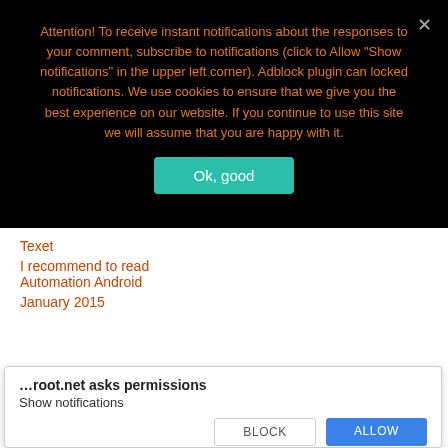Attention! To receive instant notifications about the responses to your comment, subscribe to notifications (click to Allow "Show notifications" in the upper left corner). Adblock plugin can locked notifications. We use cookies to ensure that we give you the best experience on our website. If you continue to use this site we will assume that you are happy with it.
Ok, good
Texet
I recommend to read
Automation Android
January 2015
…root.net asks permissions
Show notifications
BLOCK
ALLOW